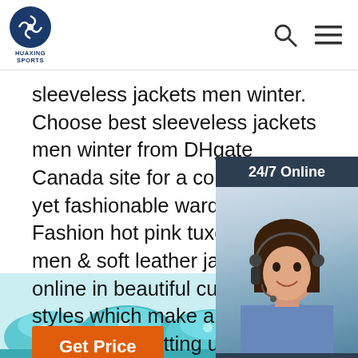HUAXING SPORTS — Search and Menu icons
sleeveless jackets men winter. Choose best sleeveless jackets men winter from DHgate Canada site for a comfortable, yet fashionable wardrobe basic. Fashion hot pink tuxedo jackets men & soft leather jackets men online in beautiful cuts and styles which make a statement for the trendsetting urbanite
Get Price
[Figure (photo): Customer service representative widget showing '24/7 Online' header, photo of woman with headset, 'Click here for free chat!' text, and orange QUOTATION button on dark navy background]
[Figure (other): Orange TOP button with dot triangle above the letters]
[Figure (photo): Bottom portion of page showing teal/blue folded fabric or clothing products]